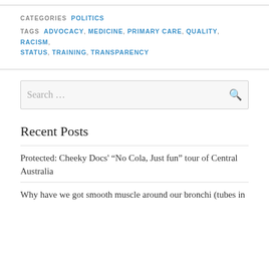CATEGORIES  POLITICS
TAGS  ADVOCACY, MEDICINE, PRIMARY CARE, QUALITY, RACISM, STATUS, TRAINING, TRANSPARENCY
Search ...
Recent Posts
Protected: Cheeky Docs' “No Cola, Just fun” tour of Central Australia
Why have we got smooth muscle around our bronchi (tubes in